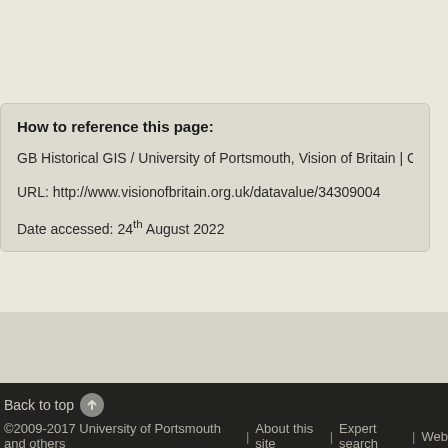How to reference this page:
GB Historical GIS / University of Portsmouth, Vision of Britain | Context for data va
URL: http://www.visionofbritain.org.uk/datavalue/34309004
Date accessed: 24th August 2022
Back to top | ©2009-2017 University of Portsmouth and others | About this site | Expert search | Web